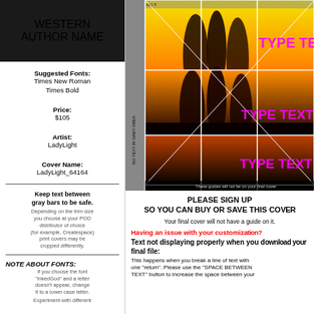[Figure (illustration): Book cover with dark background, golden text reading WESTERN and AUTHOR NAME]
Suggested Fonts:
Times New Roman
Times Bold
Price:
$105
Artist:
LadyLight
Cover Name:
LadyLight_64164
Keep text between gray bars to be safe.
Depending on the trim size you choose at your POD distributor of choice (for example, Createspace) print covers may be cropped differently.
NOTE ABOUT FONTS:
If you choose the font "InkedGod" and a letter doesn't appear, change it to a lower case letter.
Experiment with different
[Figure (illustration): Book cover preview with yellow/orange sunset and silhouettes, grid guides overlay, text TYPE TEXT 2, TYPE TEXT 3, TYPE TEXT 4 in magenta, NO TEXT IN GREY AREA label on left side, NO T label at top]
These guides will not be on your final cover.
PLEASE SIGN UP
SO YOU CAN BUY OR SAVE THIS COVER
Your final cover will not have a guide on it.
Having an issue with your customization?
Text not displaying properly when you download your final file:
This happens when you break a line of text with one "return". Please use the "SPACE BETWEEN TEXT" button to increase the space between your